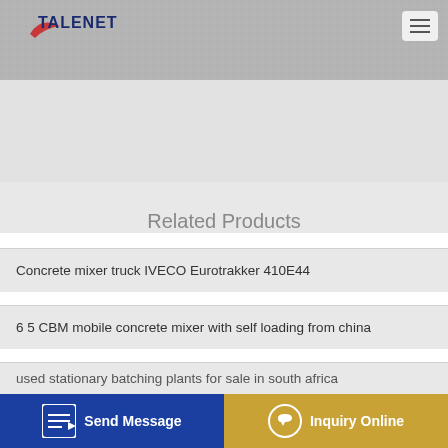TALENET
[Figure (photo): Hero banner image with textured/concrete background for Talenet website]
Related Products
Concrete mixer truck IVECO Eurotrakker 410E44
6 5 CBM mobile concrete mixer with self loading from china
used stationary batching plants for sale in south africa
Asphalt Drum Mix Plant Philippines